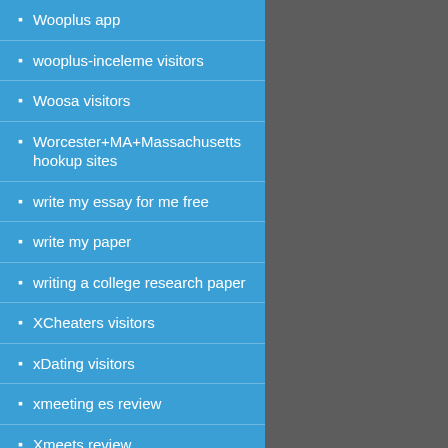Wooplus app
wooplus-inceleme visitors
Woosa visitors
Worcester+MA+Massachusetts hookup sites
write my essay for me free
write my paper
writing a college research paper
XCheaters visitors
xDating visitors
xmeeting es review
Xmeets review
z tatuazami randki